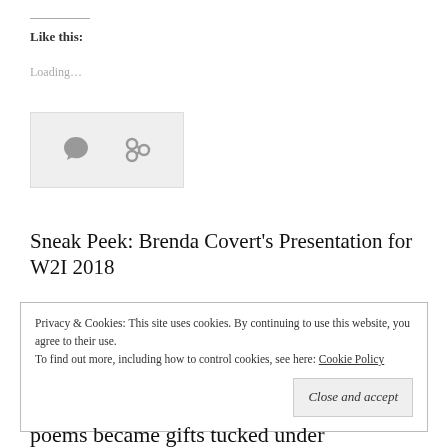Like this:
Loading…
[Figure (other): Social sharing icons box showing a comment bubble icon and a chain/link icon on a light grey background]
Sneak Peek: Brenda Covert's Presentation for W2I 2018
Privacy & Cookies: This site uses cookies. By continuing to use this website, you agree to their use.
To find out more, including how to control cookies, see here: Cookie Policy
Close and accept
poems became gifts tucked under